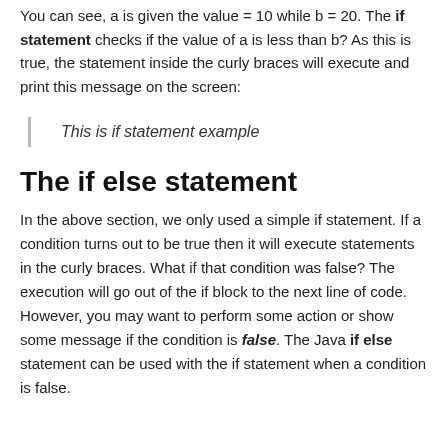You can see, a is given the value = 10 while b = 20. The if statement checks if the value of a is less than b? As this is true, the statement inside the curly braces will execute and print this message on the screen:
This is if statement example
The if else statement
In the above section, we only used a simple if statement. If a condition turns out to be true then it will execute statements in the curly braces. What if that condition was false? The execution will go out of the if block to the next line of code. However, you may want to perform some action or show some message if the condition is false. The Java if else statement can be used with the if statement when a condition is false.